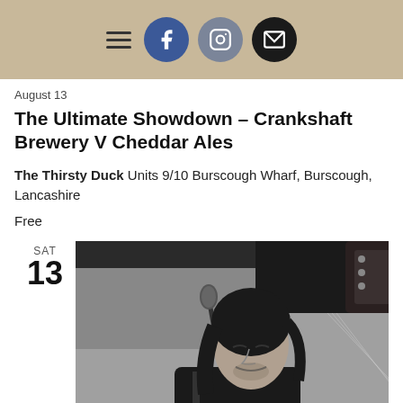Navigation bar with hamburger menu, Facebook, Instagram, and email icons
August 13
The Ultimate Showdown – Crankshaft Brewery V Cheddar Ales
The Thirsty Duck Units 9/10 Burscough Wharf, Burscough, Lancashire
Free
SAT 13
[Figure (photo): Black and white photo of a male musician with dark hair playing guitar and singing into a microphone on stage, wearing a black t-shirt]